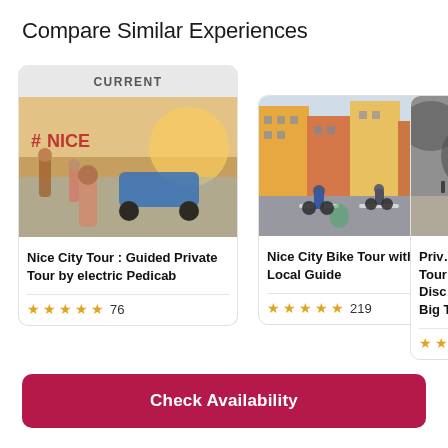Compare Similar Experiences
[Figure (photo): Photo of Nice City Tour - people on electric pedicab with #NICE sign in background near waterfront]
Nice City Tour : Guided Private Tour by electric Pedicab
★★★★★ 76
[Figure (photo): Photo of Nice City Bike Tour - cyclists riding on promenade with colorful buildings in background]
Nice City Bike Tour with a Local Guide
★★★★★ 219
[Figure (photo): Partially visible photo of a private tour]
Priv… Tour… Disc… Big T…
Check Availability